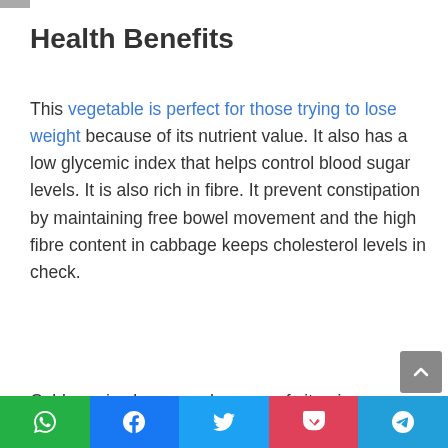Health Benefits
This vegetable is perfect for those trying to lose weight because of its nutrient value. It also has a low glycemic index that helps control blood sugar levels. It is also rich in fibre. It prevent constipation by maintaining free bowel movement and the high fibre content in cabbage keeps cholesterol levels in check.
Cabbage is also a good source of vitami...